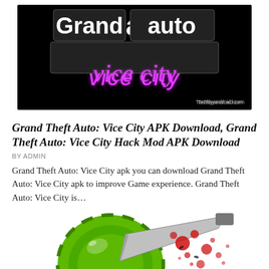[Figure (photo): Grand Theft Auto: Vice City game logo banner with black background, white block letters spelling 'Grand Auto' and pink cursive 'vice city' text. Watermark says 'Techbyandroid.com']
Grand Theft Auto: Vice City APK Download, Grand Theft Auto: Vice City Hack Mod APK Download
BY ADMIN
Grand Theft Auto: Vice City apk you can download Grand Theft Auto: Vice City apk to improve Game experience. Grand Theft Auto: Vice City is...
[Figure (illustration): Fruit Ninja game icon showing a sliced green watermelon with a knife/blade slicing through it, red splatter, and a number on an orange badge at the bottom]